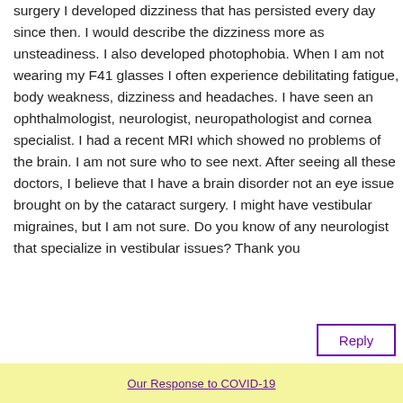surgery I developed dizziness that has persisted every day since then. I would describe the dizziness more as unsteadiness. I also developed photophobia. When I am not wearing my F41 glasses I often experience debilitating fatigue, body weakness, dizziness and headaches. I have seen an ophthalmologist, neurologist, neuropathologist and cornea specialist. I had a recent MRI which showed no problems of the brain. I am not sure who to see next. After seeing all these doctors, I believe that I have a brain disorder not an eye issue brought on by the cataract surgery. I might have vestibular migraines, but I am not sure. Do you know of any neurologist that specialize in vestibular issues? Thank you
Reply
Our Response to COVID-19